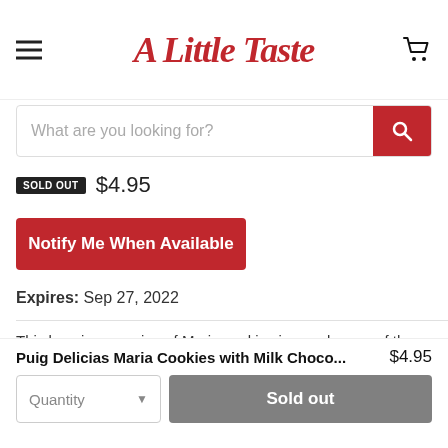A Little Taste
What are you looking for?
SOLD OUT $4.95
Notify Me When Available
Expires: Sep 27, 2022
This luxurious version of Maria cookies is a makeover of the classic biscuit with an extra layer of mouthwatering milk chocolate! An unbeatable pairing!
Puig Delicias Maria Cookies with Milk Choco... $4.95
Quantity    Sold out